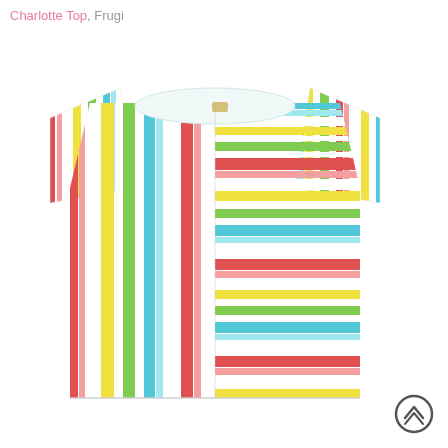Charlotte Top, Frugi
[Figure (photo): A colorful striped short-sleeve top (Charlotte Top by Frugi) with vertical rainbow stripes in red, pink, yellow, green, blue, and white on a white background. The top has a boat neckline and short rolled sleeves.]